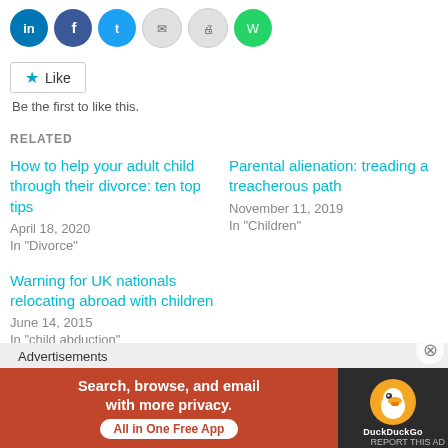[Figure (other): Social sharing icons: LinkedIn, Facebook, Twitter, email, print, WhatsApp]
Like
Be the first to like this.
RELATED
How to help your adult child through their divorce: ten top tips
April 18, 2020
In "Divorce"
Parental alienation: treading a treacherous path
November 11, 2019
In "Children"
Warning for UK nationals relocating abroad with children
June 14, 2015
In "child abduction"
Advertisements
[Figure (other): DuckDuckGo advertisement banner: Search, browse, and email with more privacy. All in One Free App]